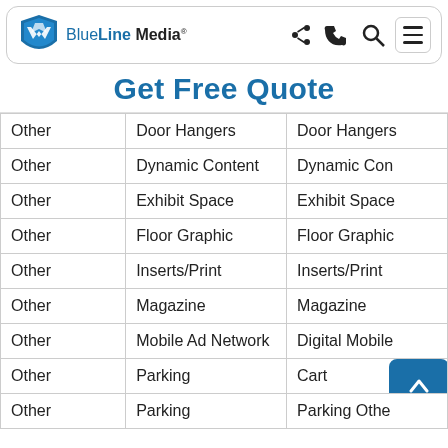[Figure (logo): Blue Line Media logo with shield icon and company name]
Get Free Quote
| Other | Door Hangers | Door Hangers |
| Other | Dynamic Content | Dynamic Content |
| Other | Exhibit Space | Exhibit Space |
| Other | Floor Graphic | Floor Graphic |
| Other | Inserts/Print | Inserts/Print |
| Other | Magazine | Magazine |
| Other | Mobile Ad Network | Digital Mobile |
| Other | Parking | Cart |
| Other | Parking | Parking Other |